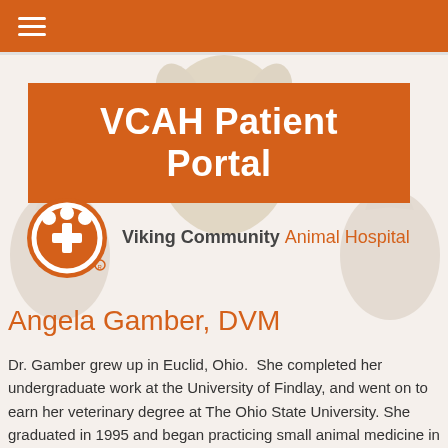≡
VCAH Patient Portal
[Figure (logo): Viking Community Animal Hospital logo — orange paw/cross icon with text 'Viking Community Animal Hospital']
Angela Gamber, DVM
Dr. Gamber grew up in Euclid, Ohio.  She completed her undergraduate work at the University of Findlay, and went on to earn her veterinary degree at The Ohio State University. She graduated in 1995 and began practicing small animal medicine in North Canton. After a few years, she came to Viking and worked with Terry Owen, DVM who